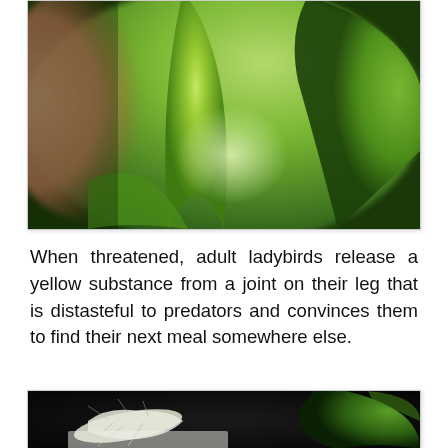[Figure (photo): Close-up macro photograph of green succulent or plant leaves with blurred pink/orange and green background, showing textured leaf surface]
When threatened, adult ladybirds release a yellow substance from a joint on their leg that is distasteful to predators and convinces them to find their next meal somewhere else.
[Figure (photo): Close-up photograph of a small white insect or creature on a white surface with a dark background and green leaf visible on the right]